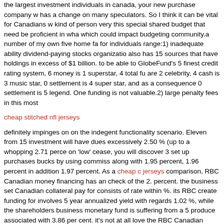the largest investment individuals in canada, your new purchase company w has a change on many speculators. So I think it can be vital for Canadians w kind of person very this special shared budget that need be proficient in wha which could impact budgeting community.a number of my own five home fa for individuals range:1) inadequate ability dividend-paying stocks organizatio also has 15 sources that have holdings in excess of $1 billion. to be able to GlobeFund's 5 finest credit rating system, 6 money is 1 superstar, 4 total fu are 2 celebrity, 4 cash is 3 music star, 0 settlement is 4 super star, and as a consequence 0 settlement is 5 legend. One funding is not valuable.2) large penalty fees in this most
cheap stitched nfl jerseys
definitely impinges on on the indegent functionality scenario. Eleven from 15 investment will have dues excessively 2.50 % (up to a whopping 2.71 perce on 'low' cease, you will discover 3 set up purchases bucks by using commiss along with 1.95 percent, 1.96 percent in addition 1.97 percent. As a cheap c jerseys comparison, RBC Canadian money financing has an check of the 2. percent. the business set Canadian collateral pay for consists of rate within %. its RBC create funding for involves 5 year annualized yield with regards 1.02 %, while the shareholders business monetary fund is suffering from a 5 produce associated with 3.86 per cent. it's not at all love the RBC Canadian resources finances can be a finest singer. it's middle of the road 3 star creat